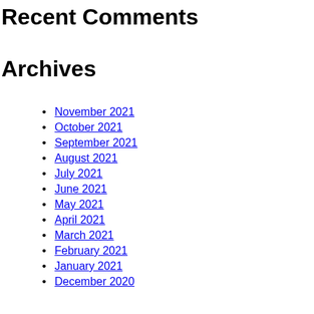Recent Comments
Archives
November 2021
October 2021
September 2021
August 2021
July 2021
June 2021
May 2021
April 2021
March 2021
February 2021
January 2021
December 2020